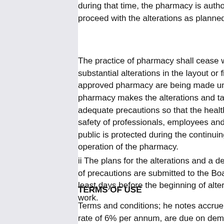during that time, the pharmacy is authorized to proceed with the alterations as planned.
The practice of pharmacy shall cease while substantial alterations in the layout or fixtures of approved pharmacy are being made unless: The pharmacy makes the alterations and takes adequate precautions so that the health and safety of professionals, employees and the public is protected during the continuing operation of the pharmacy.
ii The plans for the alterations and a description of precautions are submitted to the Board at least days before the beginning of alteration work.
TERMS OF USE
Terms and conditions; he notes accrue interest rate of 6% per annum, are due on demand or one year after the issue date and are junior to the senior debentures and Preferred C Stock of the Company.